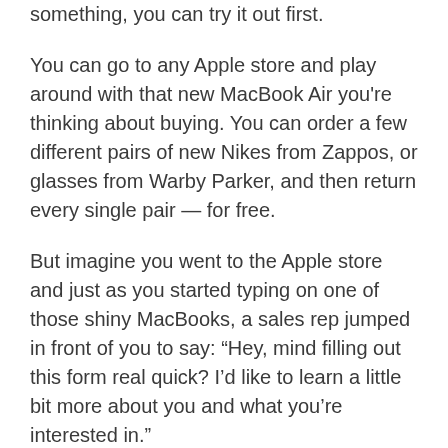something, you can try it out first.
You can go to any Apple store and play around with that new MacBook Air you're thinking about buying. You can order a few different pairs of new Nikes from Zappos, or glasses from Warby Parker, and then return every single pair — for free.
But imagine you went to the Apple store and just as you started typing on one of those shiny MacBooks, a sales rep jumped in front of you to say: “Hey, mind filling out this form real quick? I’d like to learn a little bit more about you and what you’re interested in.”
Learn more?, you ask yourself. I have no idea if I even want to buy this yet, and I…